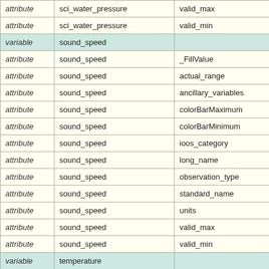|  |  |  |
| --- | --- | --- |
| attribute | sci_water_pressure | valid_max |
| attribute | sci_water_pressure | valid_min |
| variable | sound_speed |  |
| attribute | sound_speed | _FillValue |
| attribute | sound_speed | actual_range |
| attribute | sound_speed | ancillary_variables |
| attribute | sound_speed | colorBarMaximum |
| attribute | sound_speed | colorBarMinimum |
| attribute | sound_speed | ioos_category |
| attribute | sound_speed | long_name |
| attribute | sound_speed | observation_type |
| attribute | sound_speed | standard_name |
| attribute | sound_speed | units |
| attribute | sound_speed | valid_max |
| attribute | sound_speed | valid_min |
| variable | temperature |  |
| attribute | temperature | _FillValue |
| attribute | temperature | actual_range |
| attribute | temperature | ancillary_variables |